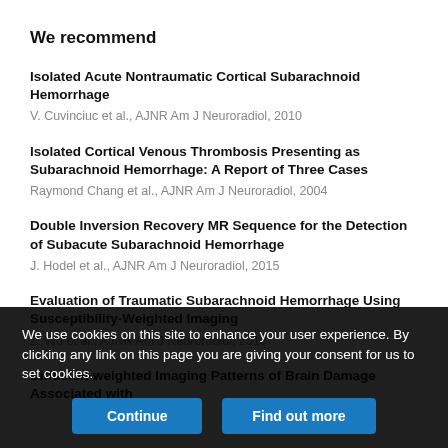We recommend
Isolated Acute Nontraumatic Cortical Subarachnoid Hemorrhage
V. Cuvinciuc et al., AJNR Am J Neuroradiol, 2010
Isolated Cortical Venous Thrombosis Presenting as Subarachnoid Hemorrhage: A Report of Three Cases
Raymond Chang et al., AJNR Am J Neuroradiol, 2004
Double Inversion Recovery MR Sequence for the Detection of Subacute Subarachnoid Hemorrhage
J. Hodel et al., AJNR Am J Neuroradiol, 2015
Evaluation of Traumatic Subarachnoid Hemorrhage Using Susceptibility-Weighted Imaging
Z. Wu et al., AJNR Am J Neuroradiol, 2010
Diffusion-weighted Imaging Patterns of Brain Damage Associated with Cerebral Venous Thrombosis
We use cookies on this site to enhance your user experience. By clicking any link on this page you are giving your consent for us to set cookies.
Continue | Find out more